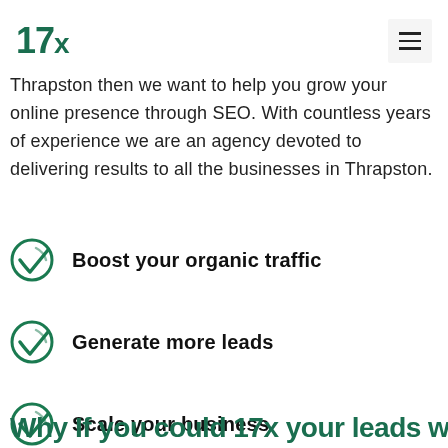17x
Thrapston then we want to help you grow your online presence through SEO. With countless years of experience we are an agency devoted to delivering results to all the businesses in Thrapston.
Boost your organic traffic
Generate more leads
Scale your business
Why If you could 17x your leads with the